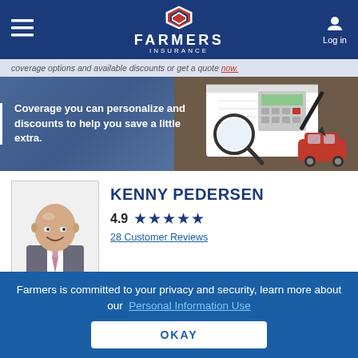Farmers Insurance — Log in
coverage options and available discounts or get a quote now.
[Figure (photo): Farmers Insurance hero banner showing notebook, calculator, magnifying glass, pen, and red toy car on a wooden surface with text: Coverage you can personalize and discounts to help you save a little extra.]
Coverage you can personalize and discounts to help you save a little extra.
[Figure (photo): Professional headshot of Kenny Pedersen, a bald man in a grey suit with a striped tie, smiling.]
KENNY PEDERSEN
4.9 ★★★★★
28 Customer Reviews
Farmers Insurance Agent in Roseburg, OR
GET A QUOTE
Farmers is committed to your privacy and security, learn more about our  Personal Information Use
OKAY